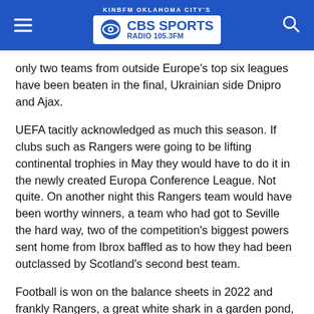KINBFM OKLAHOMA CITY'S CBS SPORTS RADIO 105.3FM
only two teams from outside Europe's top six leagues have been beaten in the final, Ukrainian side Dnipro and Ajax.
UEFA tacitly acknowledged as much this season. If clubs such as Rangers were going to be lifting continental trophies in May they would have to do it in the newly created Europa Conference League. Not quite. On another night this Rangers team would have been worthy winners, a team who had got to Seville the hard way, two of the competition's biggest powers sent home from Ibrox baffled as to how they had been outclassed by Scotland's second best team.
Football is won on the balance sheets in 2022 and frankly Rangers, a great white shark in a garden pond, should not be able to compete. Even Eintracht Frankfurt, a midtable Bundesliga club, earn twice as much in revenue as their